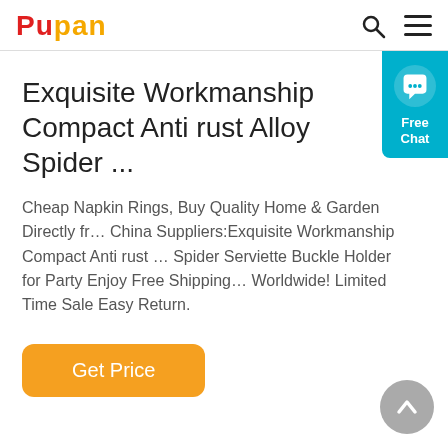Pupan
Exquisite Workmanship Compact Anti rust Alloy Spider ...
Cheap Napkin Rings, Buy Quality Home & Garden Directly from China Suppliers:Exquisite Workmanship Compact Anti rust Alloy Spider Serviette Buckle Holder for Party Enjoy Free Shipping Worldwide! Limited Time Sale Easy Return.
[Figure (other): Orange 'Get Price' button]
[Figure (other): Free Chat widget in teal/cyan color with speech bubble icon]
[Figure (other): Grey circular scroll-to-top arrow button]